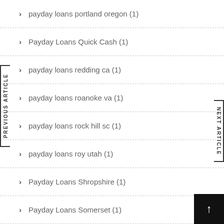payday loans portland oregon (1)
Payday Loans Quick Cash (1)
payday loans redding ca (1)
payday loans roanoke va (1)
payday loans rock hill sc (1)
payday loans roy utah (1)
Payday Loans Shropshire (1)
Payday Loans Somerset (1)